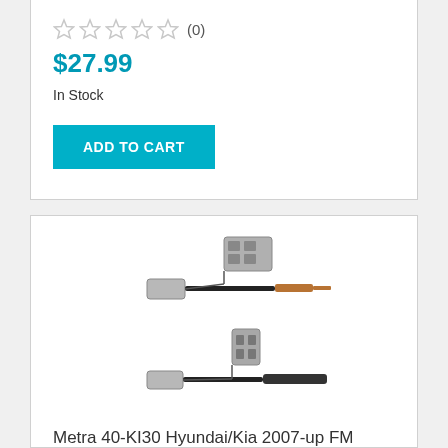★★★★★ (0)
$27.99
In Stock
ADD TO CART
[Figure (photo): Two FM modulator adapter cable assemblies for Hyundai/Kia vehicles, showing connectors and cables against white background]
Metra 40-KI30 Hyundai/Kia 2007-up FM Modulator Adapters
★★★★★ (0)